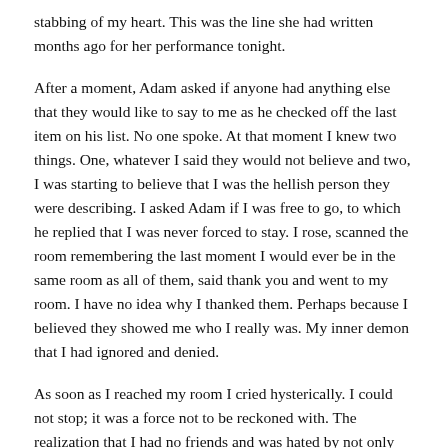stabbing of my heart. This was the line she had written months ago for her performance tonight.
After a moment, Adam asked if anyone had anything else that they would like to say to me as he checked off the last item on his list. No one spoke. At that moment I knew two things. One, whatever I said they would not believe and two, I was starting to believe that I was the hellish person they were describing. I asked Adam if I was free to go, to which he replied that I was never forced to stay. I rose, scanned the room remembering the last moment I would ever be in the same room as all of them, said thank you and went to my room. I have no idea why I thanked them. Perhaps because I believed they showed me who I really was. My inner demon that I had ignored and denied.
As soon as I reached my room I cried hysterically. I could not stop; it was a force not to be reckoned with. The realization that I had no friends and was hated by not only them, but myself sunk in. I could not stay there, and I did not feel welcome to, not that I ever really did. I grabbed my things and ran out of the door to my car. It did not